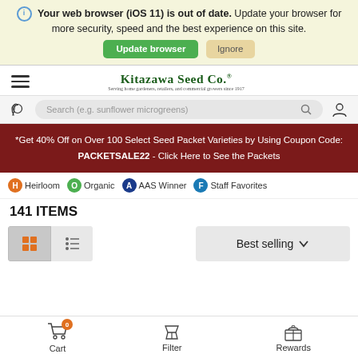Your web browser (iOS 11) is out of date. Update your browser for more security, speed and the best experience on this site. Update browser | Ignore
[Figure (screenshot): Kitazawa Seed Co. website header with hamburger menu, logo, phone icon, search bar, promo banner, category icons, item count, sort/view controls, and bottom navigation bar]
*Get 40% Off on Over 100 Select Seed Packet Varieties by Using Coupon Code: PACKETSALE22 - Click Here to See the Packets
H Heirloom  O Organic  A AAS Winner  F Staff Favorites
141 ITEMS
Best selling
Cart  Filter  Rewards